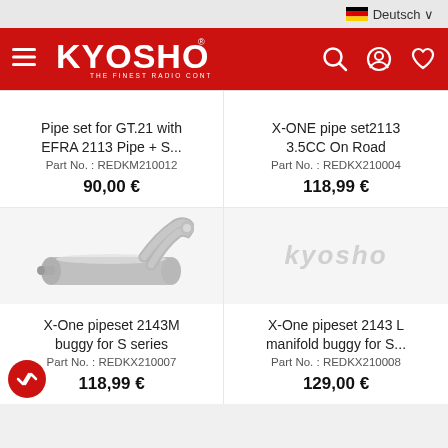Kyosho website header with logo and navigation
Pipe set for GT.21 with EFRA 2113 Pipe + S...
Part No. : REDKM210012
90,00 €
X-ONE pipe set2113 3.5CC On Road
Part No. : REDKX210004
118,99 €
[Figure (photo): Kyosho exhaust pipe set product photo - silver metallic pipe with curved end]
[Figure (logo): Kyosho logo watermark placeholder image - grey text on white background]
X-One pipeset 2143M buggy for S series
Part No. : REDKX210007
118,99 €
X-One pipeset 2143 L manifold buggy for S...
Part No. : REDKX210008
129,00 €